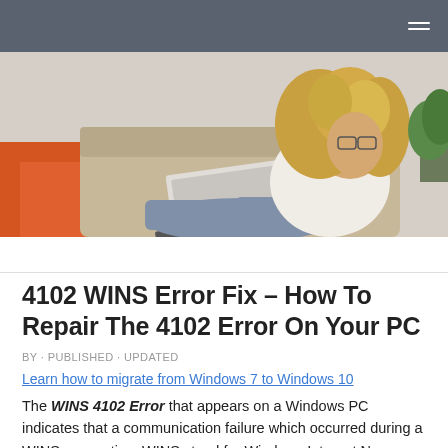[Figure (photo): Hero image of a woman with curly blonde hair and glasses sitting on a couch using a laptop, with an orange rug visible. Navigation bar with hamburger menu above.]
4102 WINS Error Fix – How To Repair The 4102 Error On Your PC
BY · PUBLISHED · UPDATED
Learn how to migrate from Windows 7 to Windows 10
The WINS 4102 Error that appears on a Windows PC indicates that a communication failure which occurred during a WINS connection. WINS stand for Windows Internet Name Service, which is a component created by Microsoft to implement the NetBIOS Name